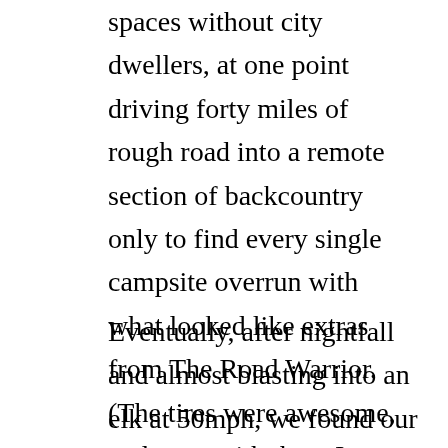spaces without city dwellers, at one point driving forty miles of rough road into a remote section of backcountry only to find every single campsite overrun with what looked like extras from The Road Warrior. (The tires were awesome, and even with them I was pushing the van to the limit.)
Eventually, after nightfall and almost blasting into an elk at 50mph, we found our little piece of paradise. (Note to install a bull bar on the front of the van